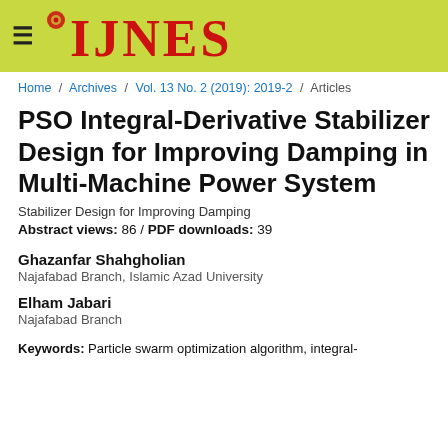IJNES
Home / Archives / Vol. 13 No. 2 (2019): 2019-2 / Articles
PSO Integral-Derivative Stabilizer Design for Improving Damping in Multi-Machine Power System
Stabilizer Design for Improving Damping
Abstract views: 86 / PDF downloads: 39
Ghazanfar Shahgholian
Najafabad Branch, Islamic Azad University
Elham Jabari
Najafabad Branch
Keywords: Particle swarm optimization algorithm, integral-